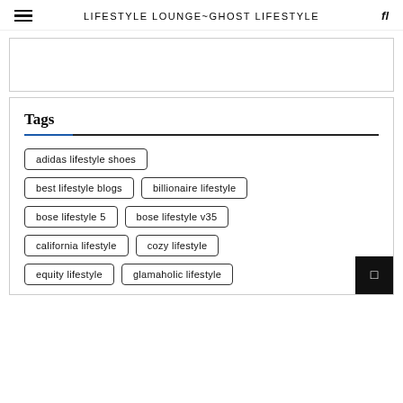LIFESTYLE LOUNGE~GHOST LIFESTYLE
Tags
adidas lifestyle shoes
best lifestyle blogs
billionaire lifestyle
bose lifestyle 5
bose lifestyle v35
california lifestyle
cozy lifestyle
equity lifestyle
glamaholic lifestyle